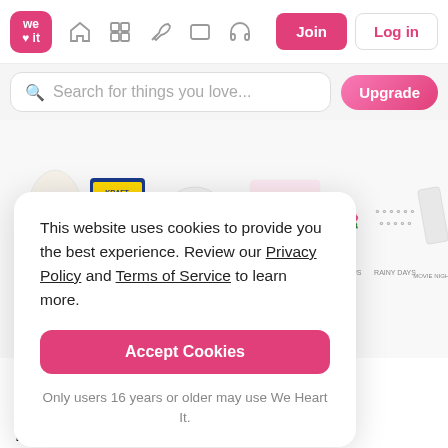[Figure (screenshot): We Heart It website navigation bar with logo, icons (home, grid, pen, rectangle, headphones), Join and Log in buttons]
[Figure (screenshot): Search bar with placeholder 'Search for things you love...' and pink Upgrade button]
[Figure (screenshot): Grid of illustrated content categories: Islands, Macaroni & Cheese, Unicorns, Manicures, Hibiscus, Rainy Days, Movie Night, TV Marathons, Silk Pajamas, Disneyland, Rose Water, Favorite Songs, Moroccan Oil, Emily sticker]
This website uses cookies to provide you the best experience. Review our Privacy Policy and Terms of Service to learn more.
Accept Cookies
Only users 16 years or older may use We Heart It.
Little Things That Make Me Smile (: